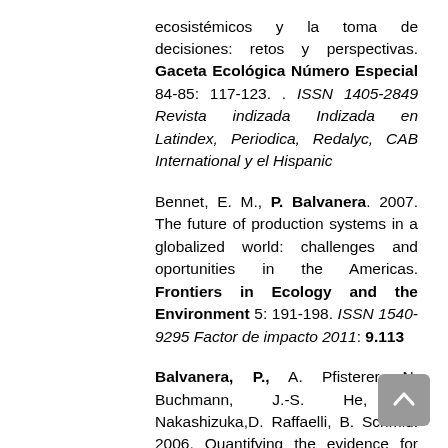ecosistémicos y la toma de decisiones: retos y perspectivas. Gaceta Ecológica Número Especial 84-85: 117-123. . ISSN 1405-2849 Revista indizada Indizada en Latindex, Periodica, Redalyc, CAB International y el Hispanic
Bennet, E. M., P. Balvanera. 2007. The future of production systems in a globalized world: challenges and oportunities in the Americas. Frontiers in Ecology and the Environment 5: 191-198. ISSN 1540-9295 Factor de impacto 2011: 9.113
Balvanera, P., A. Pfisterer, N. Buchmann, J.-S. He, T. Nakashizuka,D. Raffaelli, B. Schmid. 2006. Quantifying the evidence for biodiversity effects on ecosystem functioning and services. Ecology Letters 9: 1146-1156. ISSN 1461-0248 Factor de impacto 2011: 17.557
Martínez, M. L., R. Manson, P. Balvanera, R.